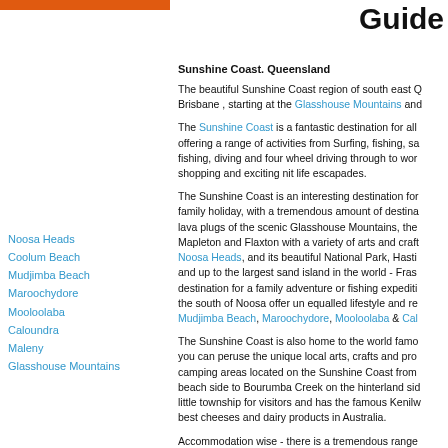Guide
Noosa Heads
Coolum Beach
Mudjimba Beach
Maroochydore
Mooloolaba
Caloundra
Maleny
Glasshouse Mountains
Sunshine Coast. Queensland
The beautiful Sunshine Coast region of south east Q... Brisbane , starting at the Glasshouse Mountains and...
The Sunshine Coast is a fantastic destination for all... offering a range of activities from Surfing, fishing, sa... fishing, diving and four wheel driving through to wor... shopping and exciting nit life escapades.
The Sunshine Coast is an interesting destination for... family holiday, with a tremendous amount of destina... lava plugs of the scenic Glasshouse Mountains, the... Mapleton and Flaxton with a variety of arts and craft... Noosa Heads, and its beautiful National Park, Hasti... and up to the largest sand island in the world - Fras... destination for a family adventure or fishing expediti... the south of Noosa offer un equalled lifestyle and re... Mudjimba Beach, Marochydore, Mooloolaba & Cal...
The Sunshine Coast is also home to the world famo... you can peruse the unique local arts, crafts and pro... camping areas located on the Sunshine Coast from... beach side to Bourumba Creek on the hinterland si... little township for visitors and has the famous Kenilw... best cheeses and dairy products in Australia.
Accommodation wise - there is a tremendous range... houses and 5 star resorts such as Twin Waters at M... resort at Yaroomba Beach, where you can also play...